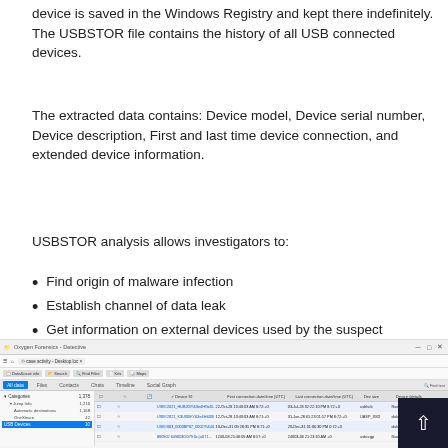device is saved in the Windows Registry and kept there indefinitely. The USBSTOR file contains the history of all USB connected devices.
The extracted data contains: Device model, Device serial number, Device description, First and last time device connection, and extended device information.
USBSTOR analysis allows investigators to:
Find origin of malware infection
Establish channel of data leak
Get information on external devices used by the suspect
[Figure (screenshot): Screenshot of Oxygen Forensic Detective software showing a table of USB device records with columns for Device ID, First connection date/time (UTC), Last connection date/time (UTC), and Drive letter/details. Multiple rows of USB device entries are visible with blue highlighted categories panel on the left.]